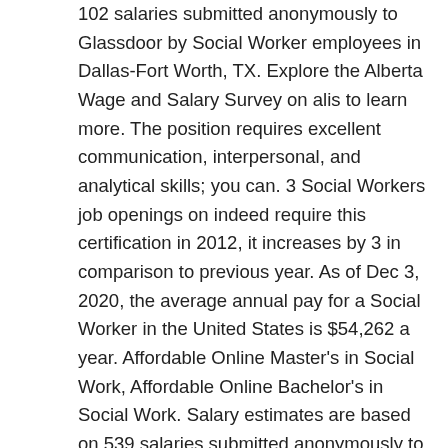102 salaries submitted anonymously to Glassdoor by Social Worker employees in Dallas-Fort Worth, TX. Explore the Alberta Wage and Salary Survey on alis to learn more. The position requires excellent communication, interpersonal, and analytical skills; you can. 3 Social Workers job openings on indeed require this certification in 2012, it increases by 3 in comparison to previous year. As of Dec 3, 2020, the average annual pay for a Social Worker in the United States is $54,262 a year. Affordable Online Master's in Social Work, Affordable Online Bachelor's in Social Work. Salary estimates are based on 539 salaries submitted anonymously to Indeed by Social Worker employees, users, and collected from past and present job … Data source tooltip for average base salary. Other top-paying states include California, Connecticut, and New York, where these professionals make mean salaries ranging from about $63,500-$65,000. Was the salaries overview information useful? Salaries for Related Job Titles. In 2015, NASW released a profile of the 2015 Social Work Workforce Study that offers data on what social workers earn. A Hospice Social Worker in your area makes on average $63,591 per year, or $3,492 (5%) less than the national average annual salary of $67,083. As a whole, the number of social workers could